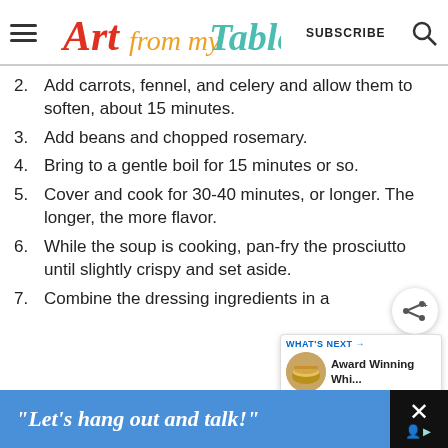Art from my Table | SUBSCRIBE
2. Add carrots, fennel, and celery and allow them to soften, about 15 minutes.
3. Add beans and chopped rosemary.
4. Bring to a gentle boil for 15 minutes or so.
5. Cover and cook for 30-40 minutes, or longer. The longer, the more flavor.
6. While the soup is cooking, pan-fry the prosciutto until slightly crispy and set aside.
7. Combine the dressing ingredients in a
[Figure (screenshot): What's Next panel with sandwich image and text 'Award Winning Whi...']
"Let’s hang out and talk!"